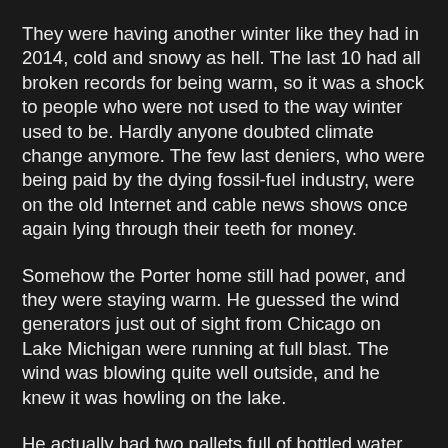They were having another winter like they had in 2014, cold and snowy as hell. The last 10 had all broken records for being warm, so it was a shock to people who were not used to the way winter used to be. Hardly anyone doubted climate change anymore. The few last deniers, who were being paid by the dying fossil-fuel industry, were on the old Internet and cable news shows once again lying through their teeth for money.
Somehow the Porter home still had power, and they were staying warm. He guessed the wind generators just out of sight from Chicago on Lake Michigan were running at full blast. The wind was blowing quite well outside, and he knew it was howling on the lake.
He actually had two pallets full of bottled water that he was going to deliver to the Ice Cycle Bike Race scheduled for next Saturday on Lake Michigan's frozen surface. The things people think of to do. Exercising longer than to keep in shape, was stupid in his mind and a waste of time. That race is not happening now, he thought.